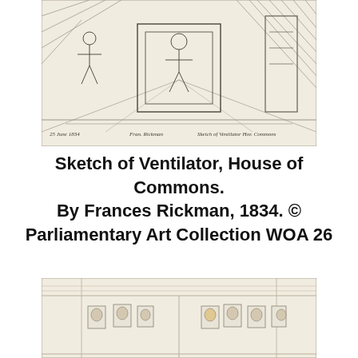[Figure (illustration): Pencil sketch of a ventilator structure in the House of Commons, dated 25 June 1834, with handwritten inscription referencing Frances Rickman and 'Sketch of Ventilator Hor Commons']
Sketch of Ventilator, House of Commons. By Frances Rickman, 1834. © Parliamentary Art Collection WOA 26
[Figure (illustration): Sketch showing a room interior with portraits of women's faces arranged on walls]